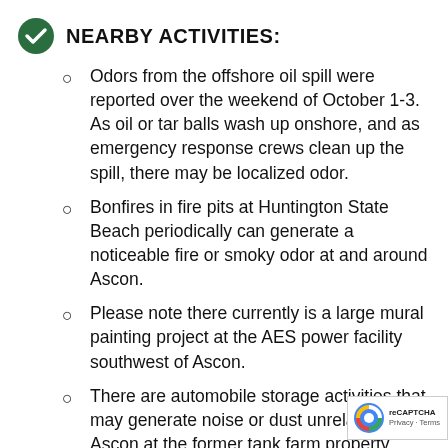NEARBY ACTIVITIES:
Odors from the offshore oil spill were reported over the weekend of October 1-3. As oil or tar balls wash up onshore, and as emergency response crews clean up the spill, there may be localized odor.
Bonfires in fire pits at Huntington State Beach periodically can generate a noticeable fire or smoky odor at and around Ascon.
Please note there currently is a large mural painting project at the AES power facility southwest of Ascon.
There are automobile storage activities that may generate noise or dust unrelated to Ascon at the former tank farm property south of Ascon and